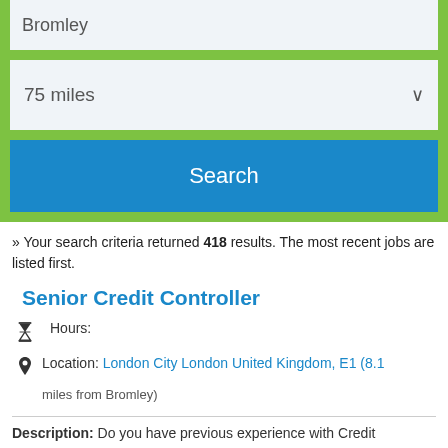[Figure (screenshot): Search form with location input showing 'Bromley', distance dropdown showing '75 miles', and a blue Search button, all on a green background]
» Your search criteria returned 418 results. The most recent jobs are listed first.
Senior Credit Controller
Hours:
Location: London City London United Kingdom, E1 (8.1 miles from Bromley)
Description: Do you have previous experience with Credit